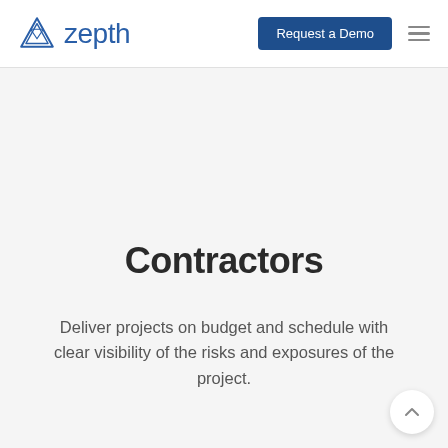zepth | Request a Demo
Contractors
Deliver projects on budget and schedule with clear visibility of the risks and exposures of the project.